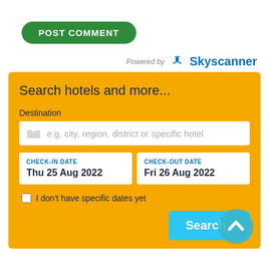[Figure (other): Green rounded POST COMMENT button]
[Figure (logo): Powered by Skyscanner logo]
[Figure (screenshot): Hotel search widget with destination input, check-in Thu 25 Aug 2022, check-out Fri 26 Aug 2022, checkbox for no specific dates, and Search button]